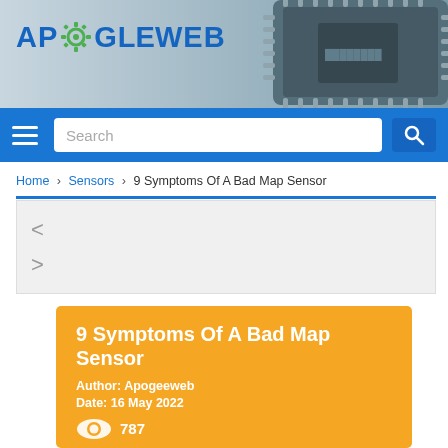[Figure (logo): ApogeWeb logo with gear icon and chip background in header banner]
[Figure (screenshot): Navigation bar with hamburger menu, search box, and search button on blue background]
Home > Sensors > 9 Symptoms Of A Bad Map Sensor
[Figure (screenshot): Slider/carousel area with left and right arrow navigation chevrons]
9 Symptoms Of A Bad Map Sensor
Author: Apogeeweb
Date: 16 May 2022
787